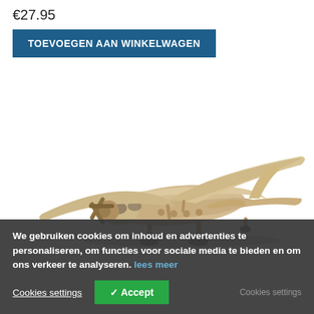€27.95
TOEVOEGEN AAN WINKELWAGEN
[Figure (photo): Wooden toy airplane on white background, natural light wood color, with wings, tail, propeller, and landing gear visible.]
We gebruiken cookies om inhoud en advertenties te personaliseren, om functies voor sociale media te bieden en om ons verkeer te analyseren. lees meer
Cookies settings
✓ Accept
Cookies settings